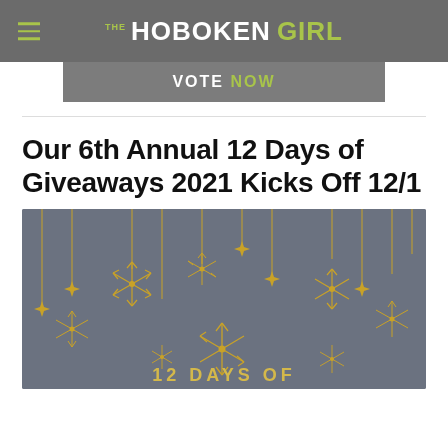THE HOBOKEN GIRL
VOTE NOW
Our 6th Annual 12 Days of Giveaways 2021 Kicks Off 12/1
[Figure (illustration): Dark gray background with gold snowflakes and hanging star ornaments decorative illustration. Bottom text reads '12 DAYS OF']